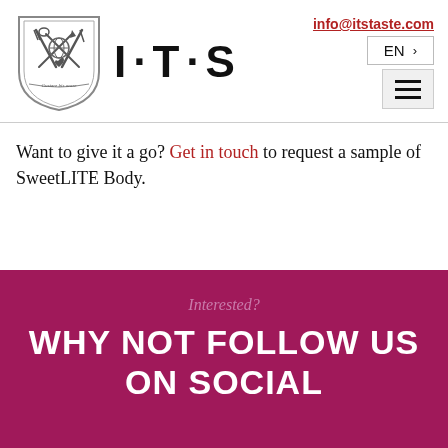[Figure (logo): ITS (I·T·S) company logo with shield emblem containing fork, spoon, pen, globe and heart motifs with banner reading 'Gustare bis orare']
info@itstaste.com
EN >
Want to give it a go? Get in touch to request a sample of SweetLITE Body.
Interested?
WHY NOT FOLLOW US ON SOCIAL